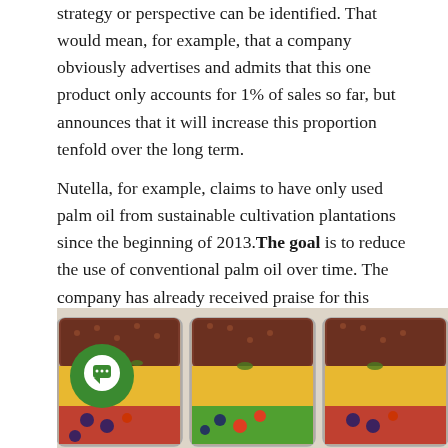strategy or perspective can be identified. That would mean, for example, that a company obviously advertises and admits that this one product only accounts for 1% of sales so far, but announces that it will increase this proportion tenfold over the long term.
Nutella, for example, claims to have only used palm oil from sustainable cultivation plantations since the beginning of 2013.The goal is to reduce the use of conventional palm oil over time. The company has already received praise for this strategy from the WWF and Greenpeace.
[Figure (photo): Three rectangular glass meal prep containers filled with layered food including red/brown rice or grain on top, yellow corn kernels in the middle, and colorful mixed vegetables (tomatoes, blueberries, greens) at the bottom. A green circle icon with a white chat bubble symbol overlaps the bottom-left of the image.]